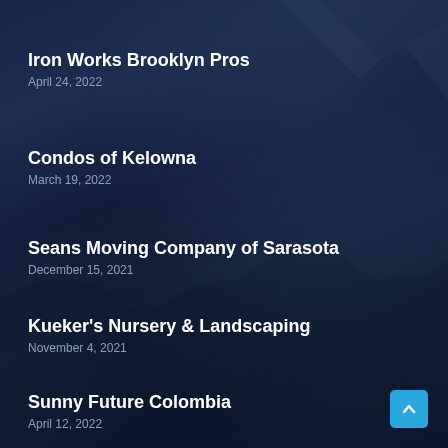Iron Works Brooklyn Pros
April 24, 2022
Condos of Kelowna
March 19, 2022
Seans Moving Company of Sarasota
December 15, 2021
Kueker's Nursery & Landscaping
November 4, 2021
Sunny Future Colombia
April 12, 2022